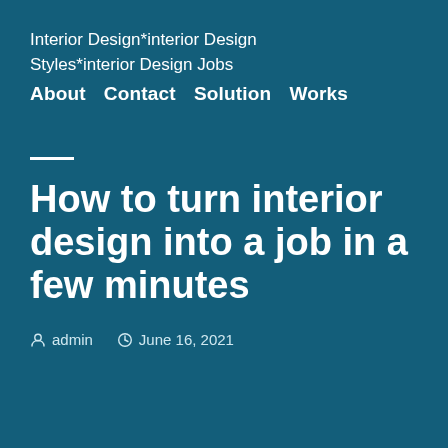Interior Design*interior Design Styles*interior Design Jobs
About  Contact  Solution  Works
How to turn interior design into a job in a few minutes
admin   June 16, 2021